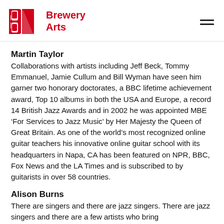Brewery Arts
Martin Taylor
Collaborations with artists including Jeff Beck, Tommy Emmanuel, Jamie Cullum and Bill Wyman have seen him garner two honorary doctorates, a BBC lifetime achievement award, Top 10 albums in both the USA and Europe, a record 14 British Jazz Awards and in 2002 he was appointed MBE ‘For Services to Jazz Music’ by Her Majesty the Queen of Great Britain. As one of the world’s most recognized online guitar teachers his innovative online guitar school with its headquarters in Napa, CA has been featured on NPR, BBC, Fox News and the LA Times and is subscribed to by guitarists in over 58 countries.
Alison Burns
There are singers and there are jazz singers. There are jazz singers and there are a few artists who bring